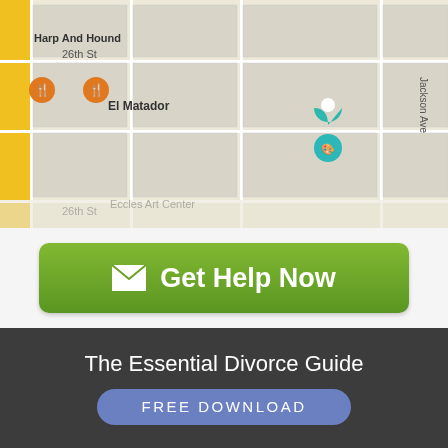[Figure (map): Google Maps screenshot showing street grid with labels: Harp And Hound, El Matador, Eccles Art Center, Rancho Markets #6, 25th St, 26th St, Jackson Ave, and various map pins]
[Figure (screenshot): Green 'Get Help Now' button with envelope icon on white background]
The Essential Divorce Guide
[Figure (screenshot): Blue rounded 'FREE DOWNLOAD' button on dark background]